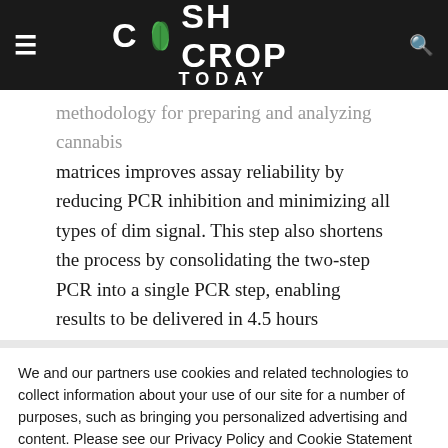CASH CROP TODAY
methodology for preparing and analyzing cannabis matrices improves assay reliability by reducing PCR inhibition and minimizing all types of dim signal. This step also shortens the process by consolidating the two-step PCR into a single PCR step, enabling results to be delivered in 4.5 hours
We and our partners use cookies and related technologies to collect information about your use of our site for a number of purposes, such as bringing you personalized advertising and content. Please see our Privacy Policy and Cookie Statement for more information about how we use and share your information.
California law considers some of this activity to be a sale. California residents can opt-out of sales through the “Do Not Sell My Info” button.
Cookie settings | ACCEPT